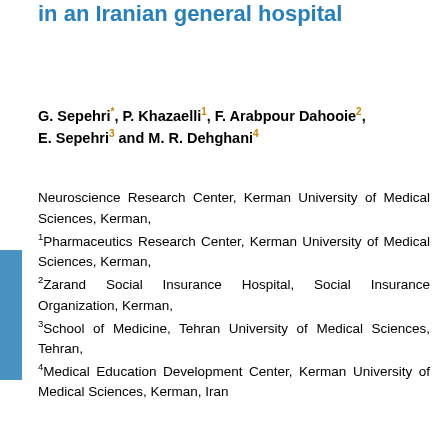in an Iranian general hospital
G. Sepehri*, P. Khazaelli1, F. Arabpour Dahooie2, E. Sepehri3 and M. R. Dehghani4
Neuroscience Research Center, Kerman University of Medical Sciences, Kerman, 1Pharmaceutics Research Center, Kerman University of Medical Sciences, Kerman, 2Zarand Social Insurance Hospital, Social Insurance Organization, Kerman, 3School of Medicine, Tehran University of Medical Sciences, Tehran, 4Medical Education Development Center, Kerman University of Medical Sciences, Kerman, Iran